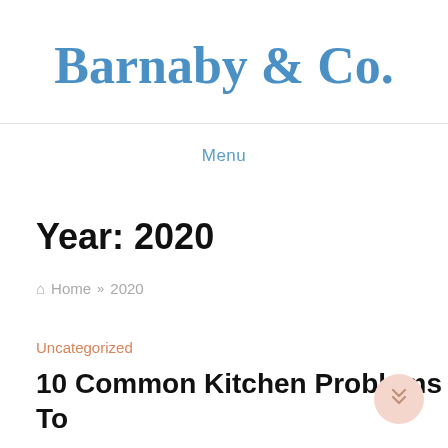Barnaby & Co.
Menu
Year: 2020
Home » 2020
Uncategorized
10 Common Kitchen Problems To